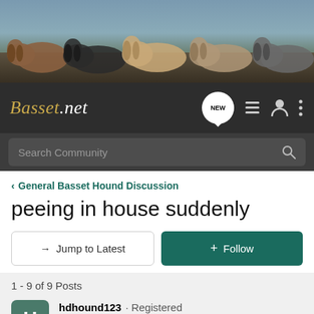[Figure (photo): Group of basset hounds lying together on dirt ground, banner photo for Basset.net forum]
Basset.net — navigation bar with logo, NEW chat bubble icon, list icon, user icon, menu icon
Search Community
< General Basset Hound Discussion
peeing in house suddenly
→ Jump to Latest
+ Follow
1 - 9 of 9 Posts
hdhound123 · Registered
Joined Mar 4, 2008 · 63 Posts